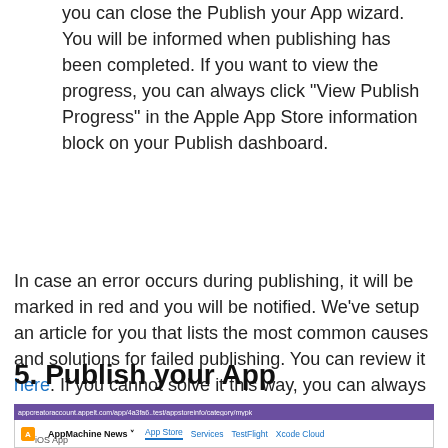you can close the Publish your App wizard. You will be informed when publishing has been completed. If you want to view the progress, you can always click "View Publish Progress" in the Apple App Store information block on your Publish dashboard.
In case an error occurs during publishing, it will be marked in red and you will be notified. We've setup an article for you that lists the most common causes and solutions for failed publishing. You can review it here. If you cannot solve it this way, you can always contact support@appmachine.com. Make sure you provide your app name, app number, the email address of your AppMachine account and any screenshots that show information about the issue so we can help you as fast as possible.
5. Publish your App
[Figure (screenshot): Screenshot of AppMachine app store interface showing navigation bar with AppMachine News, App Store, Services, TestFlight, Xcode Cloud links, and iOS App label below]